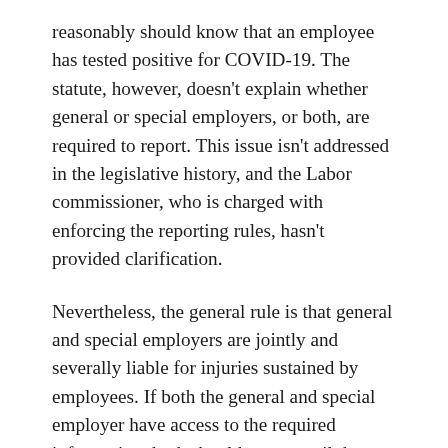reasonably should know that an employee has tested positive for COVID-19. The statute, however, doesn't explain whether general or special employers, or both, are required to report. This issue isn't addressed in the legislative history, and the Labor commissioner, who is charged with enforcing the reporting rules, hasn't provided clarification.
Nevertheless, the general rule is that general and special employers are jointly and severally liable for injuries sustained by employees. If both the general and special employer have access to the required information, both should report until the issue is further clarified.